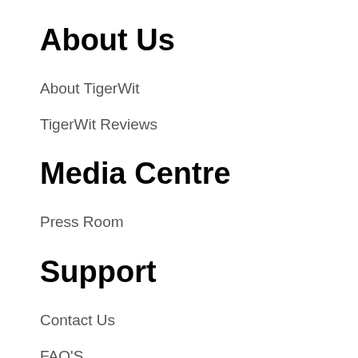About Us
About TigerWit
TigerWit Reviews
Media Centre
Press Room
Support
Contact Us
FAQ'S
T&C'S